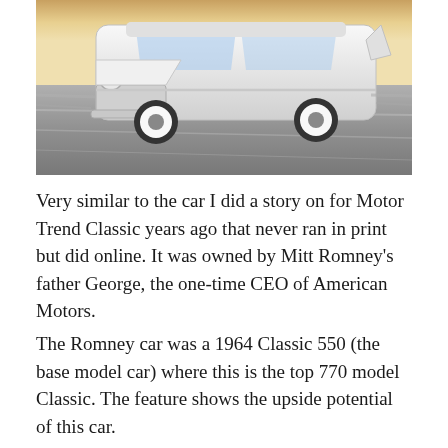[Figure (photo): A white classic American car (1960s AMC Classic) photographed from the front at an angle while driving on a road, with motion blur in the background suggesting speed. The car has chrome detailing and whitewall tires.]
Very similar to the car I did a story on for Motor Trend Classic years ago that never ran in print but did online. It was owned by Mitt Romney's father George, the one-time CEO of American Motors.
The Romney car was a 1964 Classic 550 (the base model car) where this is the top 770 model Classic. The feature shows the upside potential of this car.
Dimensionally, this is an almost direct match for a Mercedes-Benz 220 Fintail. And probably the performance numbers, with a well-tuned 232, won't be far off.